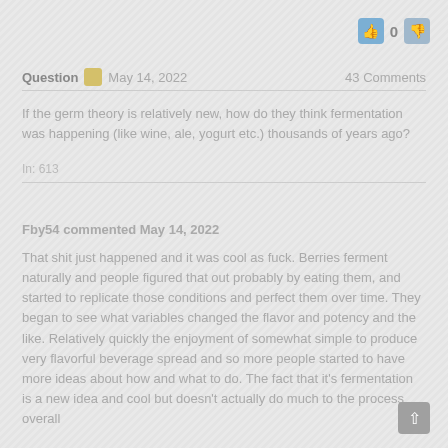👍 0 👎
Question  May 14, 2022    43 Comments
If the germ theory is relatively new, how do they think fermentation was happening (like wine, ale, yogurt etc.) thousands of years ago?
In: 613
Fby54 commented May 14, 2022
That shit just happened and it was cool as fuck. Berries ferment naturally and people figured that out probably by eating them, and started to replicate those conditions and perfect them over time. They began to see what variables changed the flavor and potency and the like. Relatively quickly the enjoyment of somewhat simple to produce very flavorful beverage spread and so more people started to have more ideas about how and what to do. The fact that it's fermentation is a new idea and cool but doesn't actually do much to the process overall